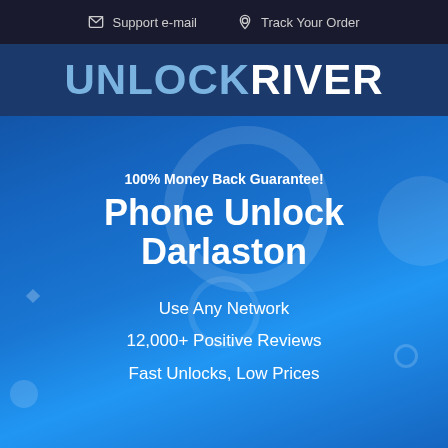Support e-mail   Track Your Order
UNLOCKRIVER
100% Money Back Guarantee!
Phone Unlock Darlaston
Use Any Network
12,000+ Positive Reviews
Fast Unlocks, Low Prices